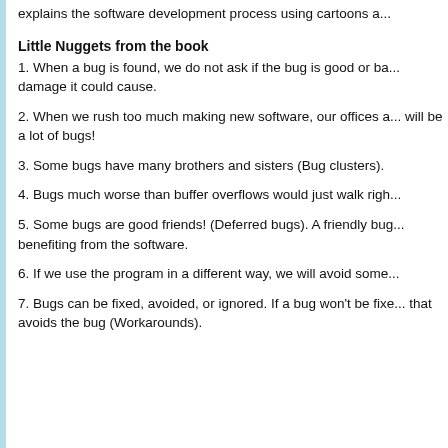explains the software development process using cartoons a...
Little Nuggets from the book
1. When a bug is found, we do not ask if the bug is good or bad... damage it could cause.
2. When we rush too much making new software, our offices a... will be a lot of bugs!
3. Some bugs have many brothers and sisters (Bug clusters).
4. Bugs much worse than buffer overflows would just walk righ...
5. Some bugs are good friends! (Deferred bugs). A friendly bug... benefiting from the software.
6. If we use the program in a different way, we will avoid some...
7. Bugs can be fixed, avoided, or ignored. If a bug won't be fixed... that avoids the bug (Workarounds).